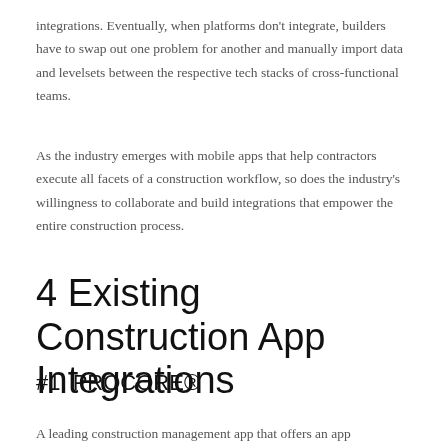integrations. Eventually, when platforms don't integrate, builders have to swap out one problem for another and manually import data and levelsets between the respective tech stacks of cross-functional teams.
As the industry emerges with mobile apps that help contractors execute all facets of a construction workflow, so does the industry's willingness to collaborate and build integrations that empower the entire construction process.
4 Existing Construction App Integrations
#1: PROCORE®
A leading construction management app that offers an app marketplace. Construction companies can search for existing software integrations, find documentation to set them up, or become a partner.